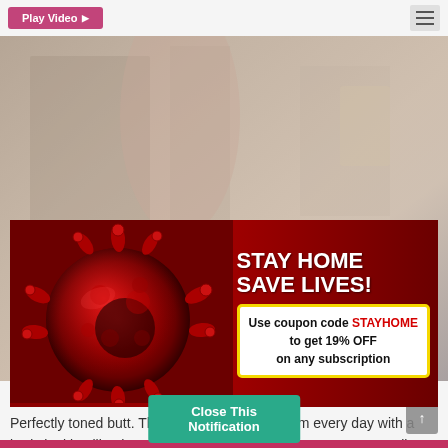Play Video
[Figure (photo): Background photo of a person, partially visible, in a room setting — serves as website background behind popup]
[Figure (infographic): Popup banner with red background showing a 3D coronavirus illustration on the left, and on the right: large white bold text 'STAY HOME SAVE LIVES!' and a yellow-bordered white box with text 'Use coupon code STAYHOME to get 19% OFF on any subscription']
Close This Notification
Buns Of Steel
Perfectly toned butt. This girl must be in the gym every day with a body looking like that. This ass gets 10k likes on Instagram easily. We get HD Video!